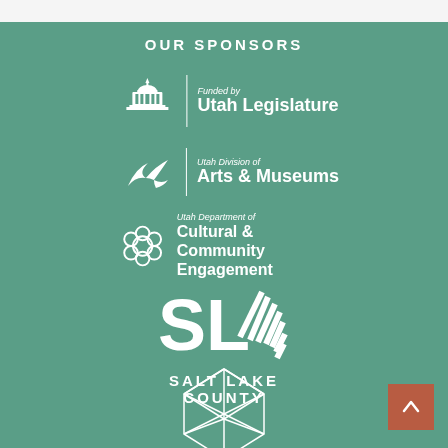OUR SPONSORS
[Figure (logo): Utah Legislature logo — capitol building icon with 'Funded by Utah Legislature' text in white]
[Figure (logo): Utah Division of Arts & Museums logo — stylized bird/flag icon with text in white]
[Figure (logo): Utah Department of Cultural & Community Engagement logo — geometric hexagonal flower icon with text in white]
[Figure (logo): Salt Lake County logo — SL with sunburst rays and 'SALT LAKE COUNTY' text in white]
[Figure (logo): Partially visible geometric polyhedron/icosahedron logo in white outline at bottom of page]